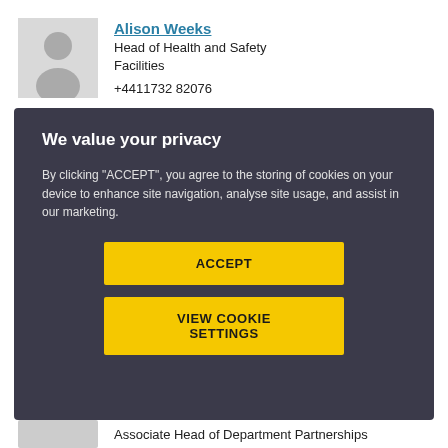[Figure (photo): Grey placeholder avatar/silhouette icon for a person]
Alison Weeks
Head of Health and Safety
Facilities
+4411732 82076
We value your privacy
By clicking "ACCEPT", you agree to the storing of cookies on your device to enhance site navigation, analyse site usage, and assist in our marketing.
ACCEPT
VIEW COOKIE SETTINGS
Associate Head of Department Partnerships